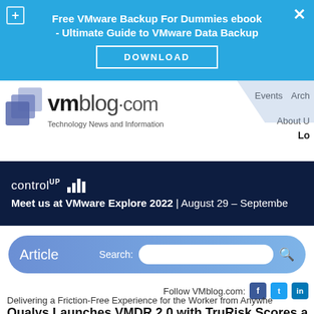[Figure (screenshot): Blue ad banner for Free VMware Backup For Dummies ebook with DOWNLOAD button]
[Figure (logo): VMblog.com logo with stacked blue squares icon and tagline 'Technology News and Information']
Events   Arch   About U   Lo
[Figure (screenshot): ControlUp dark navy banner: Meet us at VMware Explore 2022 | August 29 - September]
[Figure (screenshot): Article search bar with Article label, Search field, and social follow icons for VMblog.com]
Follow VMblog.com:
Delivering a Friction-Free Experience for the Worker from Anywhe
Qualys Launches VMDR 2.0 with TruRisk Scores a